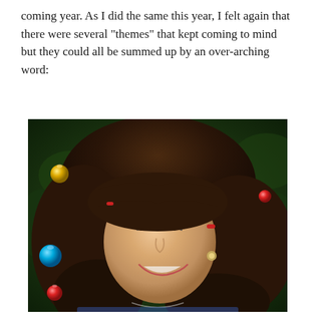coming year. As I did the same this year, I felt again that there were several "themes" that kept coming to mind but they could all be summed up by an over-arching word:
[Figure (photo): A woman with long, curly dark brown hair smiling and looking down, photographed in front of a Christmas tree with colorful ornaments (blue, gold, red) visible in the background.]